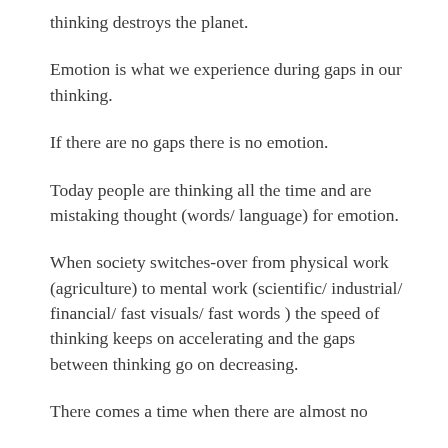thinking destroys the planet.
Emotion is what we experience during gaps in our thinking.
If there are no gaps there is no emotion.
Today people are thinking all the time and are mistaking thought (words/ language) for emotion.
When society switches-over from physical work (agriculture) to mental work (scientific/ industrial/ financial/ fast visuals/ fast words ) the speed of thinking keeps on accelerating and the gaps between thinking go on decreasing.
There comes a time when there are almost no